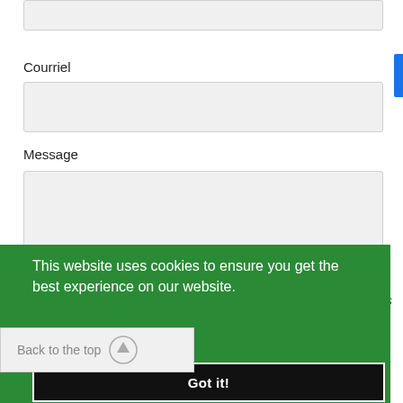Courriel
Message
This website uses cookies to ensure you get the best experience on our website.
ovés
Learn More
Back to the top
Got it!